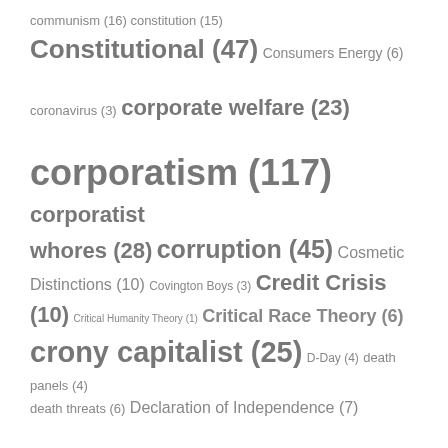communism (16) constitution (15) Constitutional (47) Consumers Energy (6) coronavirus (3) corporate welfare (23) corporatism (117) corporatist whores (28) corruption (45) Cosmetic Distinctions (10) Covington Boys (3) Credit Crisis (10) Critical Humanity Theory (1) Critical Race Theory (6) crony capitalist (25) D-Day (4) death panels (4) death threats (6) Declaration of Independence (7) Della Sentilles (16) democrats (39) dhimmi (7) Dhimmi Carter (7) diversity (3) DoJ (3) dystopia (3) earmarks (16) earth hour (5) eco-corporatism (11) economic ignorance (7)